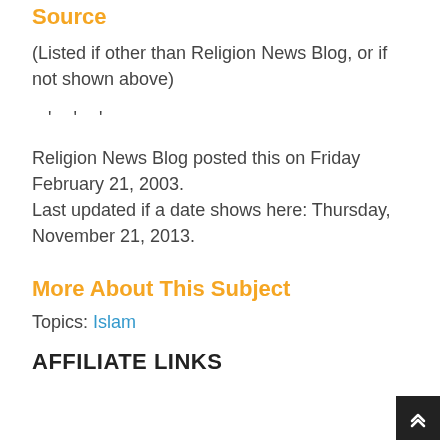Source
(Listed if other than Religion News Blog, or if not shown above)
' ' '
Religion News Blog posted this on Friday February 21, 2003.
Last updated if a date shows here: Thursday, November 21, 2013.
More About This Subject
Topics: Islam
AFFILIATE LINKS